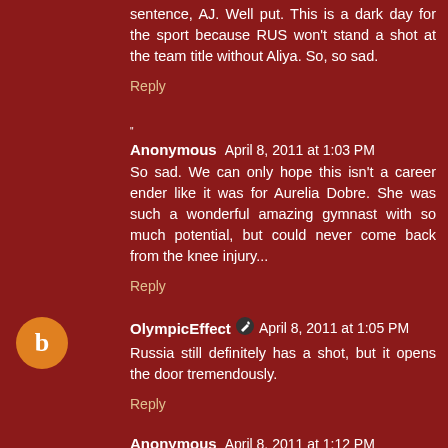sentence, AJ. Well put. This is a dark day for the sport because RUS won't stand a shot at the team title without Aliya. So, so sad.
Reply
Anonymous April 8, 2011 at 1:03 PM
So sad. We can only hope this isn't a career ender like it was for Aurelia Dobre. She was such a wonderful amazing gymnast with so much potential, but could never come back from the knee injury...
Reply
OlympicEffect April 8, 2011 at 1:05 PM
Russia still definitely has a shot, but it opens the door tremendously.
Reply
Anonymous April 8, 2011 at 1:12 PM